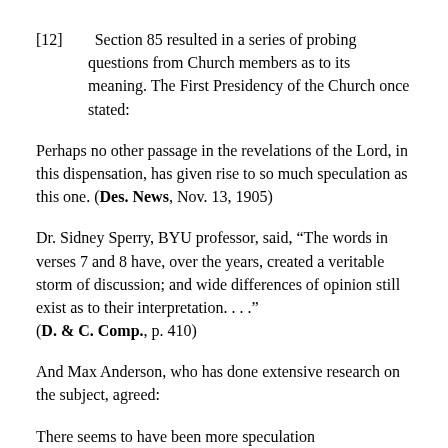[12]   Section 85 resulted in a series of probing questions from Church members as to its meaning. The First Presidency of the Church once stated:
Perhaps no other passage in the revelations of the Lord, in this dispensation, has given rise to so much speculation as this one. (Des. News, Nov. 13, 1905)
Dr. Sidney Sperry, BYU professor, said, “The words in verses 7 and 8 have, over the years, created a veritable storm of discussion; and wide differences of opinion still exist as to their interpretation. . . .” (D. & C. Comp., p. 410)
And Max Anderson, who has done extensive research on the subject, agreed:
There seems to have been more speculation